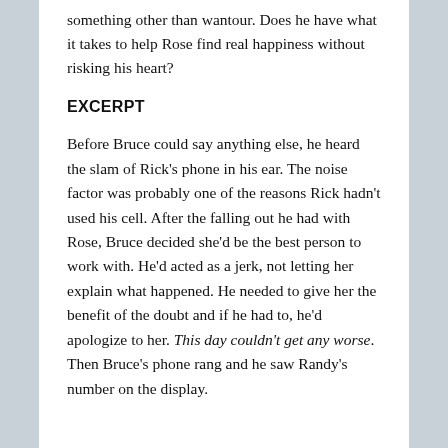something other than wantour. Does he have what it takes to help Rose find real happiness without risking his heart?
EXCERPT
Before Bruce could say anything else, he heard the slam of Rick's phone in his ear. The noise factor was probably one of the reasons Rick hadn't used his cell. After the falling out he had with Rose, Bruce decided she'd be the best person to work with. He'd acted as a jerk, not letting her explain what happened. He needed to give her the benefit of the doubt and if he had to, he'd apologize to her. This day couldn't get any worse. Then Bruce's phone rang and he saw Randy's number on the display.